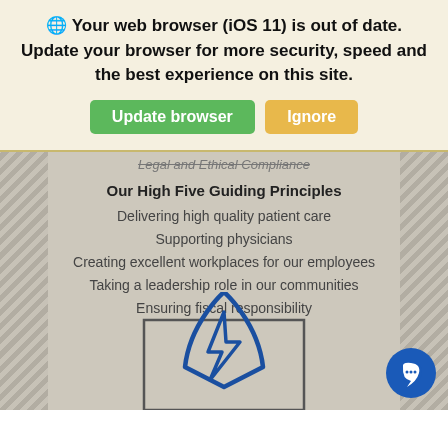🌐 Your web browser (iOS 11) is out of date. Update your browser for more security, speed and the best experience on this site.
Update browser | Ignore
Legal and Ethical Compliance
Our High Five Guiding Principles
Delivering high quality patient care
Supporting physicians
Creating excellent workplaces for our employees
Taking a leadership role in our communities
Ensuring fiscal responsibility
[Figure (logo): Blue rocket/lightning bolt logo outline inside a square frame]